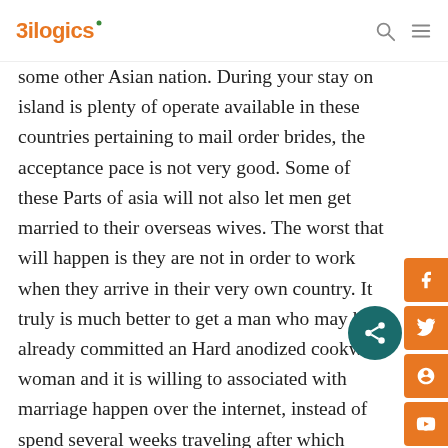3ilogics
some other Asian nation. During your stay on island is plenty of operate available in these countries pertaining to mail order brides, the acceptance pace is not very good. Some of these Parts of asia will not also let men get married to their overseas wives. The worst that will happen is they are not in order to work when they arrive in their very own country. It truly is much better to get a man who may have already committed an Hard anodized cookware woman and it is willing to associated with marriage happen over the internet, instead of spend several weeks traveling after which waiting around for approval back home.